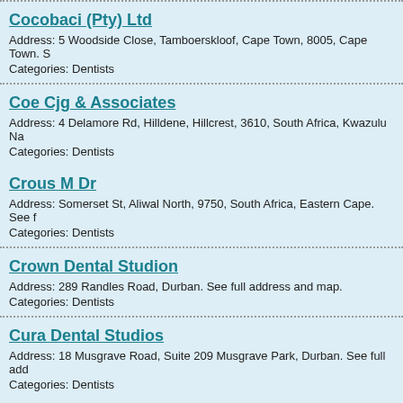Cocobaci (Pty) Ltd
Address: 5 Woodside Close, Tamboerskloof, Cape Town, 8005, Cape Town. S
Categories: Dentists
Coe Cjg & Associates
Address: 4 Delamore Rd, Hilldene, Hillcrest, 3610, South Africa, Kwazulu Na
Categories: Dentists
Crous M Dr
Address: Somerset St, Aliwal North, 9750, South Africa, Eastern Cape. See f
Categories: Dentists
Crown Dental Studion
Address: 289 Randles Road, Durban. See full address and map.
Categories: Dentists
Cura Dental Studios
Address: 18 Musgrave Road, Suite 209 Musgrave Park, Durban. See full add
Categories: Dentists
de Beer Dental